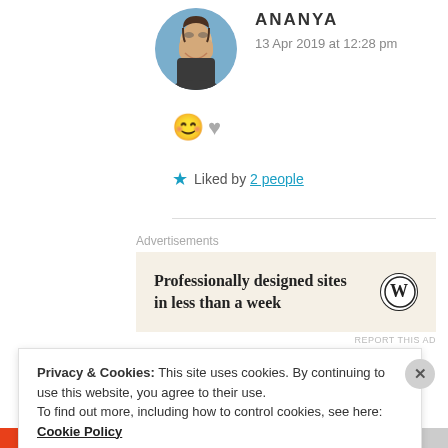[Figure (photo): Circular avatar photo of a young woman with glasses, smiling, wearing dark jacket, outdoor background]
ANANYA
13 Apr 2019 at 12:28 pm
😊 🩶
★ Liked by 2 people
Advertisements
[Figure (screenshot): WordPress advertisement: Professionally designed sites in less than a week, with WordPress logo]
REPORT THIS AD
Privacy & Cookies: This site uses cookies. By continuing to use this website, you agree to their use.
To find out more, including how to control cookies, see here: Cookie Policy
Close and accept